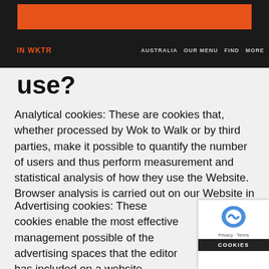[Figure (logo): Orange rectangular banner/logo bar at top of page on dark background]
IN WKTR  AUSTRALIA  OUR MENU  FIND  MORE
use?
Analytical cookies: These are cookies that, whether processed by Wok to Walk or by third parties, make it possible to quantify the number of users and thus perform measurement and statistical analysis of how they use the Website. Browser analysis is carried out on our Website in order to improve the content, products and services that are displayed on it.
Advertising cookies: These cookies enable the most effective management possible of the advertising spaces that the editor has included on a website, application or platform services are rendered based on criteria such as the content